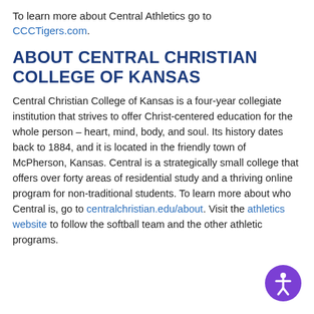To learn more about Central Athletics go to CCCTigers.com.
ABOUT CENTRAL CHRISTIAN COLLEGE OF KANSAS
Central Christian College of Kansas is a four-year collegiate institution that strives to offer Christ-centered education for the whole person – heart, mind, body, and soul. Its history dates back to 1884, and it is located in the friendly town of McPherson, Kansas. Central is a strategically small college that offers over forty areas of residential study and a thriving online program for non-traditional students. To learn more about who Central is, go to centralchristian.edu/about. Visit the athletics website to follow the softball team and the other athletic programs.
[Figure (illustration): Purple circular accessibility/person icon button in bottom right corner]